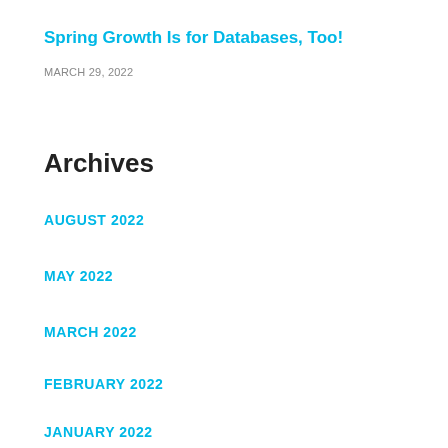Spring Growth Is for Databases, Too!
MARCH 29, 2022
Archives
AUGUST 2022
MAY 2022
MARCH 2022
FEBRUARY 2022
JANUARY 2022